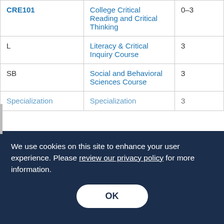| Code | Description | Credits |
| --- | --- | --- |
| CRE101 | College Critical Reading and Critical Thinking | 0–3 |
| L | Literacy & Critical Inquiry Course | 3 |
| SB | Social and Behavioral Sciences Course | 3 |
| Specialization | Specialization | 3 |
We use cookies on this site to enhance your user experience. Please review our privacy policy for more information.